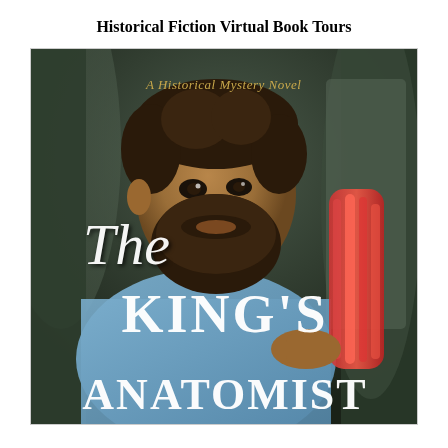Historical Fiction Virtual Book Tours
[Figure (illustration): Book cover for 'The King's Anatomist' - A Historical Mystery Novel. Shows a bearded man in Renaissance clothing holding an anatomical arm/muscle model, set against dark curtain background. Text on cover: 'A Historical Mystery Novel', 'The', 'KING'S', 'ANATOMIST' in white lettering.]